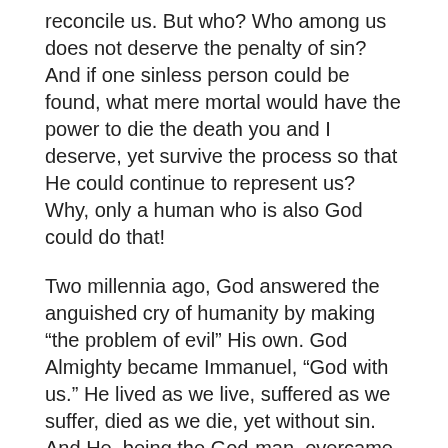reconcile us. But who? Who among us does not deserve the penalty of sin? And if one sinless person could be found, what mere mortal would have the power to die the death you and I deserve, yet survive the process so that He could continue to represent us? Why, only a human who is also God could do that!
Two millennia ago, God answered the anguished cry of humanity by making “the problem of evil” His own. God Almighty became Immanuel, “God with us.” He lived as we live, suffered as we suffer, died as we die, yet without sin. And He, being the God-man, overcame the power of death in order to give us eternal life.
The plan is complete. Remember Jesus’s words on the cross? “It is finished!” (John 19:30). Mission accomplished. Nothing left for God to do, except allow His creation time to respond. He patiently waits...but time is running out. He will not wait forever. He will one day close the door of opportunity, either by your own physical death or by bringing all earthly history to an end.
As you ponder the humanity of the first Christmas, remember that it is an invitation to slow down and think